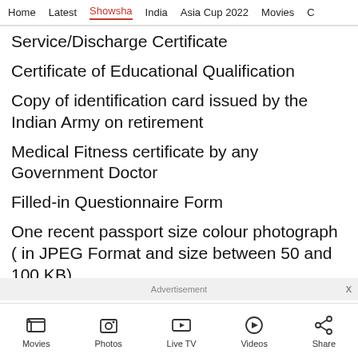Home   Latest   Showsha   India   Asia Cup 2022   Movies   C
Service/Discharge Certificate
Certificate of Educational Qualification
Copy of identification card issued by the Indian Army on retirement
Medical Fitness certificate by any Government Doctor
Filled-in Questionnaire Form
One recent passport size colour photograph ( in JPEG Format and size between 50 and 100 KB)
Advertisement
Movies   Photos   Live TV   Videos   Share